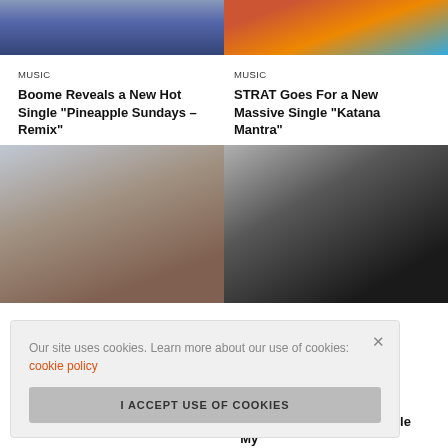[Figure (photo): Two photos at top: left shows a person in a dark blue/grey outfit, right shows a person in a red top with colorful background]
MUSIC
Boome Reveals a New Hot Single “Pineapple Sundays – Remix”
MUSIC
STRAT Goes For a New Massive Single “Katana Mantra”
[Figure (photo): Two photos: left shows a young woman with long brown hair, right shows a man in a black hoodie with yellow graphic]
Our site uses cookies. Learn more about our use of cookies: cookie policy
I ACCEPT USE OF COOKIES
Heartfelt New Song “Don’t
s With a New Massive Single “My